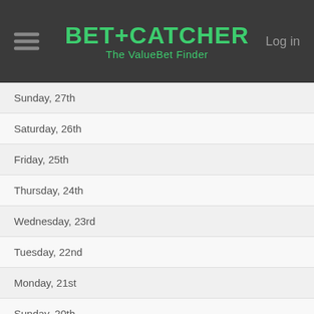BET+CATCHER The ValueBet Finder | Log in
Sunday, 27th
Saturday, 26th
Friday, 25th
Thursday, 24th
Wednesday, 23rd
Tuesday, 22nd
Monday, 21st
Sunday, 20th
Saturday, 19th
Friday, 18th
Thursday, 17th
Wednesday, 16th
Tuesday, 15th